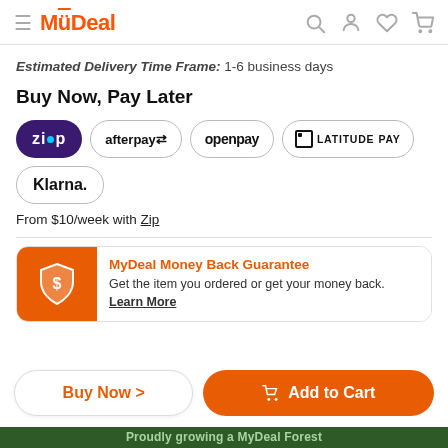MyDeal
Estimated Delivery Time Frame: 1-6 business days
Buy Now, Pay Later
[Figure (logo): Payment method logos: Zip, afterpay, openpay, LATITUDE PAY, Klarna]
From $10/week with Zip
MyDeal Money Back Guarantee
Get the item you ordered or get your money back. Learn More
Buy Now >  🛒 Add to Cart
Proudly growing a MyDeal Forest